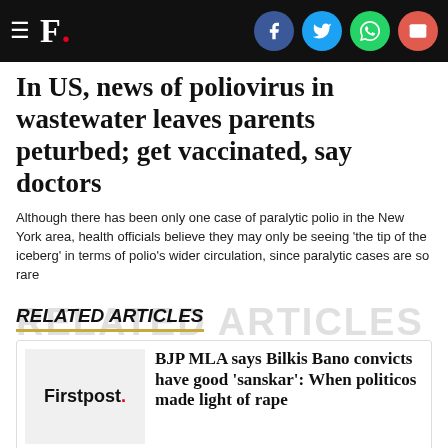F. [Firstpost logo with social icons: Facebook, Twitter, WhatsApp, Email]
In US, news of poliovirus in wastewater leaves parents peturbed; get vaccinated, say doctors
Although there has been only one case of paralytic polio in the New York area, health officials believe they may only be seeing 'the tip of the iceberg' in terms of polio's wider circulation, since paralytic cases are so rare
RELATED ARTICLES
BJP MLA says Bilkis Bano convicts have good 'sanskar': When politicos made light of rape
BJP MLA CK Raulji's remarks praising the convicts in Bilkis Bano gangrape may be shocking, but aren't really surprising given Indian politicians' proclivity to put their foot in their mouths on this subject.